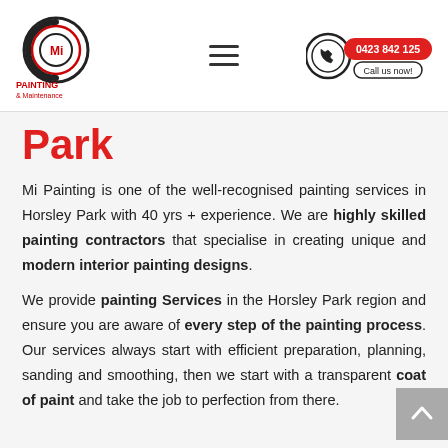[Figure (logo): Mi Painting & Maintenance logo — circular emblem with stylized C/G shape in black and red, 'Mi' text in red, 'PAINTING & Maintenance' text below in red]
[Figure (other): Hamburger menu icon — three horizontal black lines]
[Figure (other): Phone call button — circular icon with phone symbol, red pill-shaped button showing '0423 842 125' and 'Call us now!']
Park
Mi Painting is one of the well-recognised painting services in Horsley Park with 40 yrs + experience. We are highly skilled painting contractors that specialise in creating unique and modern interior painting designs.
We provide painting Services in the Horsley Park region and ensure you are aware of every step of the painting process. Our services always start with efficient preparation, planning, sanding and smoothing, then we start with a transparent coat of paint and take the job to perfection from there.